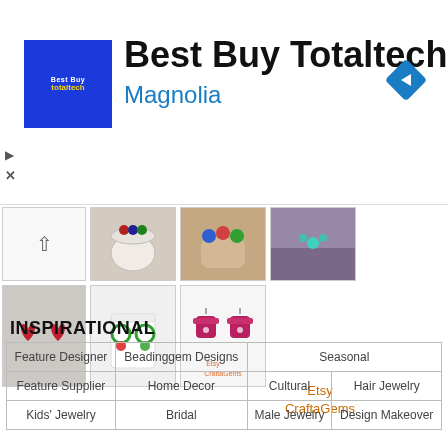[Figure (screenshot): Best Buy Totaltech advertisement banner with blue logo, company name in bold text, 'Magnolia' subtitle in blue, and a blue diamond navigation arrow icon on the right. Play and close icons on left edge.]
[Figure (photo): Grid of product photos showing jewelry/crafts items: row 1 has an arrow-up cell, a cup/dice photo, a hand with jewelry photo, and a person's shoulder with jewelry; row 2 has red heart earrings, a white cup with green hoop earrings, and pink sweater charm earrings.]
Etsy
CraftaGems
INSPIRATIONAL
| Feature Designer | Beadinggem Designs | Seasonal |
| Feature Supplier | Home Decor | Cultural | Hair Jewelry |
| Kids' Jewelry | Bridal | Male Jewelry | Design Makeover |